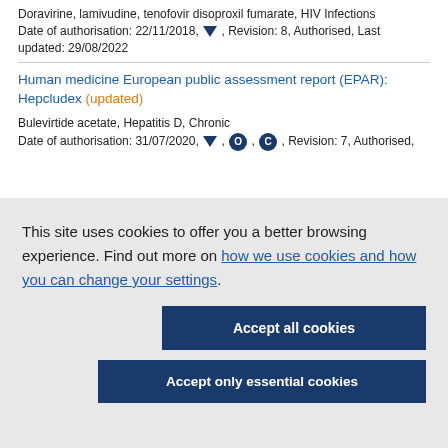Doravirine, lamivudine, tenofovir disoproxil fumarate, HIV Infections Date of authorisation: 22/11/2018, ▼, Revision: 8, Authorised, Last updated: 29/08/2022
Human medicine European public assessment report (EPAR): Hepcludex (updated)
Bulevirtide acetate, Hepatitis D, Chronic Date of authorisation: 31/07/2020, ▼, O, C, Revision: 7, Authorised,
This site uses cookies to offer you a better browsing experience. Find out more on how we use cookies and how you can change your settings.
Accept all cookies
Accept only essential cookies